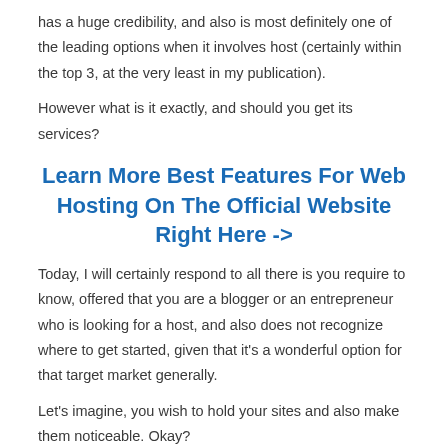has a huge credibility, and also is most definitely one of the leading options when it involves host (certainly within the top 3, at the very least in my publication).
However what is it exactly, and should you get its services?
Learn More Best Features For Web Hosting On The Official Website Right Here ->
Today, I will certainly respond to all there is you require to know, offered that you are a blogger or an entrepreneur who is looking for a host, and also does not recognize where to get started, given that it's a wonderful option for that target market generally.
Let's imagine, you wish to hold your sites and also make them noticeable. Okay?
Now, certainly, there are a great deal of holding remedies that...